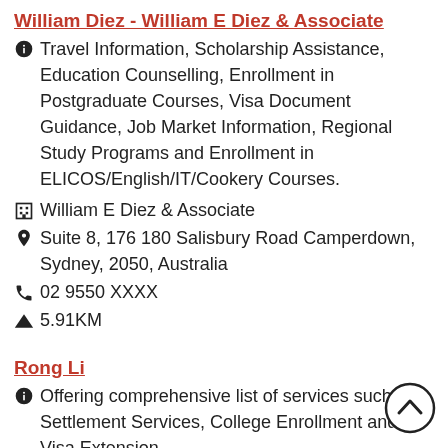William Diez - William E Diez & Associate
Travel Information, Scholarship Assistance, Education Counselling, Enrollment in Postgraduate Courses, Visa Document Guidance, Job Market Information, Regional Study Programs and Enrollment in ELICOS/English/IT/Cookery Courses.
William E Diez & Associate
Suite 8, 176 180 Salisbury Road Camperdown, Sydney, 2050, Australia
02 9550 XXXX
5.91KM
Rong Li
Offering comprehensive list of services such as Settlement Services, College Enrollment and Visa Extension.
OZ EDUCATION CHOICE PTY. LTD.
MARN: 1576923